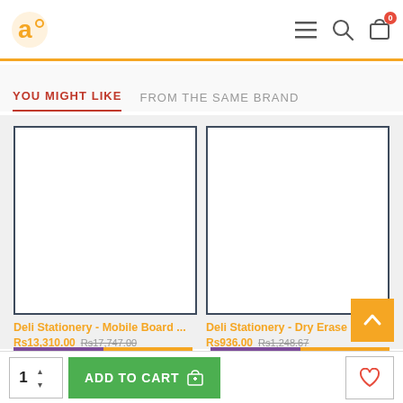Header with logo and navigation icons
YOU MIGHT LIKE
FROM THE SAME BRAND
[Figure (other): Product image placeholder - Deli Stationery Mobile Board]
Deli Stationery - Mobile Board ...
Rs13,310.00  Rs17,747.00
[Figure (other): Product image placeholder - Deli Stationery Dry Erase Marker]
Deli Stationery - Dry Erase Ma...
Rs936.00  Rs1,248.67
1  ADD TO CART